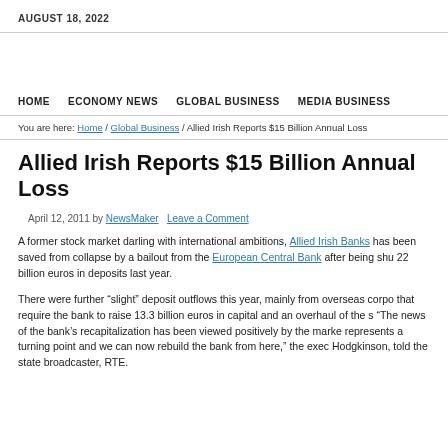AUGUST 18, 2022
HOME   ECONOMY NEWS   GLOBAL BUSINESS   MEDIA BUSINESS
You are here: Home / Global Business / Allied Irish Reports $15 Billion Annual Loss
Allied Irish Reports $15 Billion Annual Loss
April 12, 2011 by NewsMaker   Leave a Comment
A former stock market darling with international ambitions, Allied Irish Banks has saved from collapse by a bailout from the European Central Bank after being shu 22 billion euros in deposits last year.
There were further “slight” deposit outflows this year, mainly from overseas corpo that require the bank to raise 13.3 billion euros in capital and an overhaul of the s “The news of the bank’s recapitalization has been viewed positively by the marke represents a turning point and we can now rebuild the bank from here,” the exec Hodgkinson, told the state broadcaster, RTE.